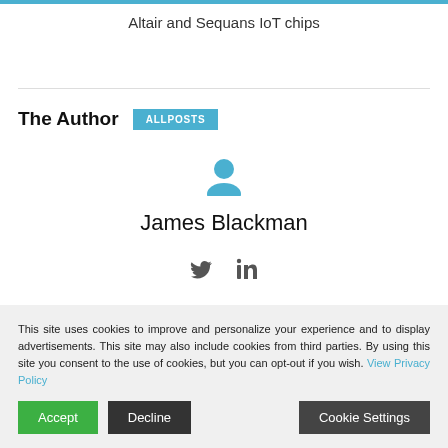Altair and Sequans IoT chips
The Author  ALLPOSTS
[Figure (illustration): User avatar icon in blue]
James Blackman
[Figure (infographic): Social media icons: Twitter and LinkedIn]
James Blackman has been writing about the technology and telecoms sectors for over a decade. He has edited and
This site uses cookies to improve and personalize your experience and to display advertisements. This site may also include cookies from third parties. By using this site you consent to the use of cookies, but you can opt-out if you wish. View Privacy Policy